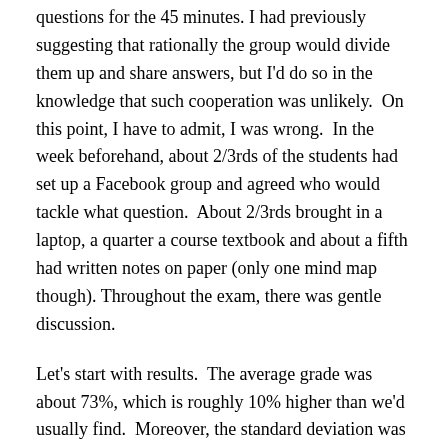questions for the 45 minutes. I had previously suggesting that rationally the group would divide them up and share answers, but I'd do so in the knowledge that such cooperation was unlikely. On this point, I have to admit, I was wrong. In the week beforehand, about 2/3rds of the students had set up a Facebook group and agreed who would tackle what question. About 2/3rds brought in a laptop, a quarter a course textbook and about a fifth had written notes on paper (only one mind map though). Throughout the exam, there was gentle discussion.
Let's start with results. The average grade was about 73%, which is roughly 10% higher than we'd usually find. Moreover, the standard deviation was very small, typically half what we'd normally find. This suggests that there was collaborative working and it was (on average) beneficial to students' performance.